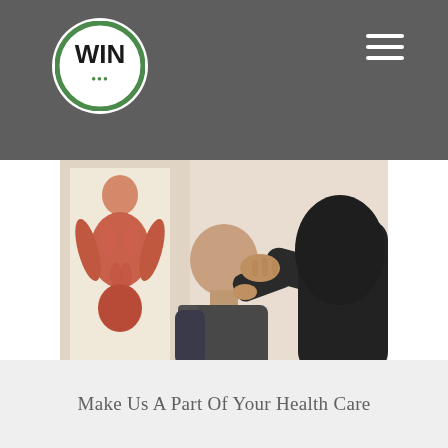WIN logo and navigation header
[Figure (logo): WIN logo: circular white badge with green border and WIN text in bold]
[Figure (photo): A healthcare practitioner performing a neck/back manual therapy treatment on a seated patient; a muscular anatomy poster is visible on the wall in the background]
Make Us A Part Of Your Health Care